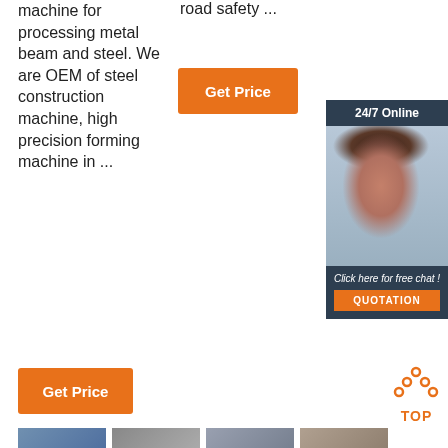machine for processing metal beam and steel. We are OEM of steel construction machine, high precision forming machine in ...
road safety ...
[Figure (other): Orange 'Get Price' button]
[Figure (other): 24/7 Online chat sidebar with customer service representative photo, 'Click here for free chat!' text, and orange QUOTATION button]
[Figure (other): Orange 'Get Price' button (bottom)]
[Figure (other): Orange TOP icon with dots forming a triangle above the text TOP]
[Figure (other): Row of product thumbnail images at the bottom of the page]